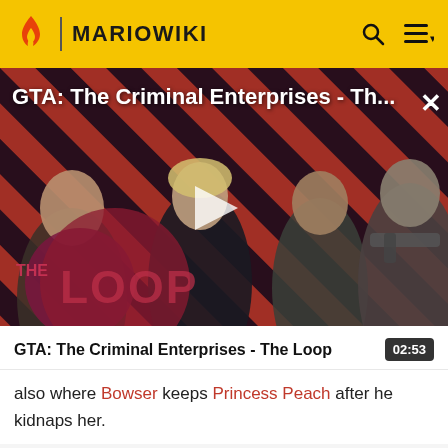MARIOWIKI
[Figure (screenshot): Video thumbnail for 'GTA: The Criminal Enterprises - Th...' showing game characters on a red and dark diagonal striped background. Includes The Loop logo watermark and a play button overlay. A close (X) button is in the top right.]
GTA: The Criminal Enterprises - The Loop
also where Bowser keeps Princess Peach after he kidnaps her.